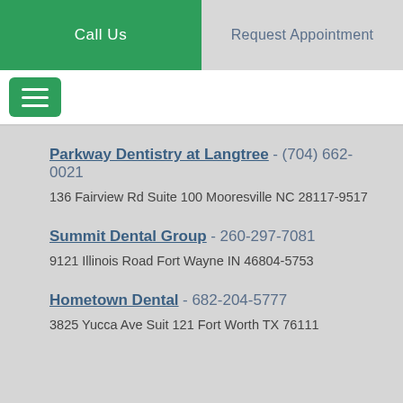Call Us
Request Appointment
Parkway Dentistry at Langtree - (704) 662-0021
136 Fairview Rd Suite 100 Mooresville NC 28117-9517
Summit Dental Group - 260-297-7081
9121 Illinois Road Fort Wayne IN 46804-5753
Hometown Dental - 682-204-5777
3825 Yucca Ave Suit 121 Fort Worth TX 76111